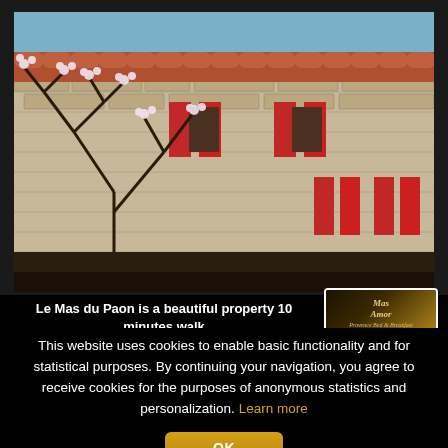[Figure (photo): Stone farmhouse (mas) with red shutters and a blossoming almond tree in the foreground, photographed in spring daylight.]
[Figure (logo): Mas Amor logo: stylized text over a golden map silhouette of a region, on dark background, inside a white-bordered box.]
Le Mas du Paon is a beautiful property 10 minutes walk
This website uses cookies to enable basic functionality and for statistical purposes. By continuing your navigation, you agree to receive cookies for the purposes of anonymous statistics and personalization. Learn more
OK